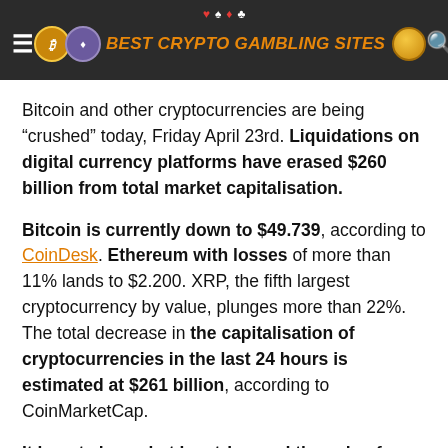BEST CRYPTO GAMBLING SITES
Bitcoin and other cryptocurrencies are being “crushed” today, Friday April 23rd. Liquidations on digital currency platforms have erased $260 billion from total market capitalisation.
Bitcoin is currently down to $49.739, according to CoinDesk. Ethereum with losses of more than 11% lands to $2.200. XRP, the fifth largest cryptocurrency by value, plunges more than 22%. The total decrease in the capitalisation of cryptocurrencies in the last 24 hours is estimated at $261 billion, according to CoinMarketCap.
It is not clear what has triggered the sale of cryptocurrencies in the last 24 hours. But most likely, as